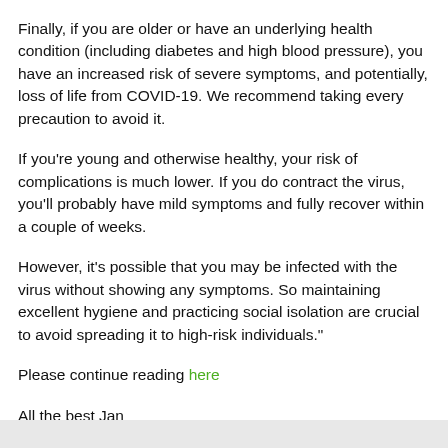Finally, if you are older or have an underlying health condition (including diabetes and high blood pressure), you have an increased risk of severe symptoms, and potentially, loss of life from COVID-19. We recommend taking every precaution to avoid it.
If you're young and otherwise healthy, your risk of complications is much lower. If you do contract the virus, you'll probably have mild symptoms and fully recover within a couple of weeks.
However, it's possible that you may be infected with the virus without showing any symptoms. So maintaining excellent hygiene and practicing social isolation are crucial to avoid spreading it to high-risk individuals."
Please continue reading here
All the best Jan